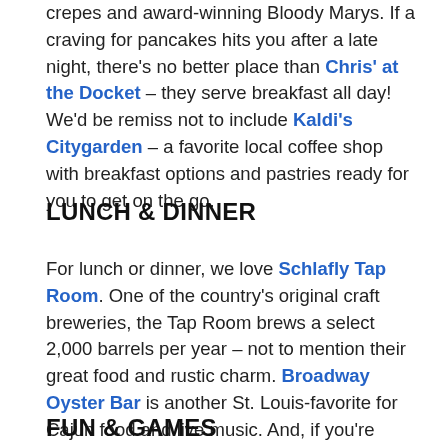crepes and award-winning Bloody Marys. If a craving for pancakes hits you after a late night, there's no better place than Chris' at the Docket – they serve breakfast all day! We'd be remiss not to include Kaldi's Citygarden – a favorite local coffee shop with breakfast options and pastries ready for you to get on the go.
LUNCH & DINNER
For lunch or dinner, we love Schlafly Tap Room. One of the country's original craft breweries, the Tap Room brews a select 2,000 barrels per year – not to mention their great food and rustic charm. Broadway Oyster Bar is another St. Louis-favorite for Cajun food and live music. And, if you're looking for an authentic St. Louis Italian experience, look no further than Charlie Gitto's – said to be the inventor of toasted ravioli and go-to dining spot for many of sport's greatest heroes.
FUN & GAMES